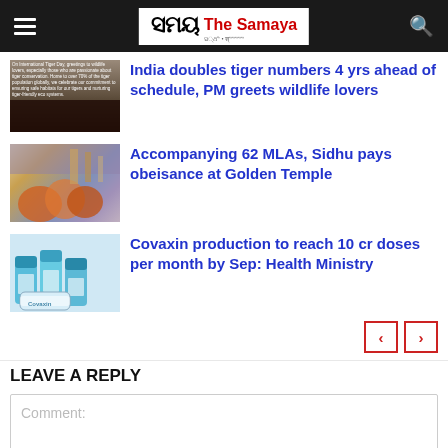The Samaya - navigation header with hamburger menu, logo, and search icon
[Figure (screenshot): Thumbnail image of a dark tiger-related photo with overlay text about On International Tiger Day]
India doubles tiger numbers 4 yrs ahead of schedule, PM greets wildlife lovers
[Figure (photo): Thumbnail showing crowd of people with orange flags and turbans]
Accompanying 62 MLAs, Sidhu pays obeisance at Golden Temple
[Figure (photo): Thumbnail showing Covaxin vaccine vials with blue caps]
Covaxin production to reach 10 cr doses per month by Sep: Health Ministry
LEAVE A REPLY
Comment: